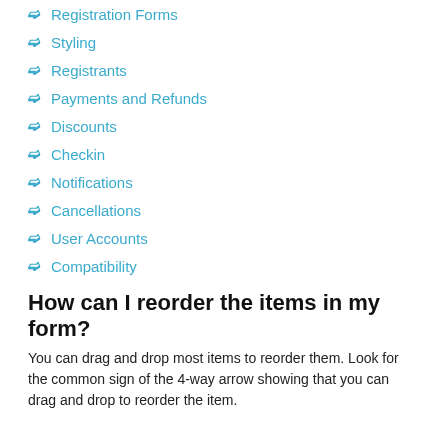Registration Forms
Styling
Registrants
Payments and Refunds
Discounts
Checkin
Notifications
Cancellations
User Accounts
Compatibility
How can I reorder the items in my form?
You can drag and drop most items to reorder them. Look for the common sign of the 4-way arrow showing that you can drag and drop to reorder the item.